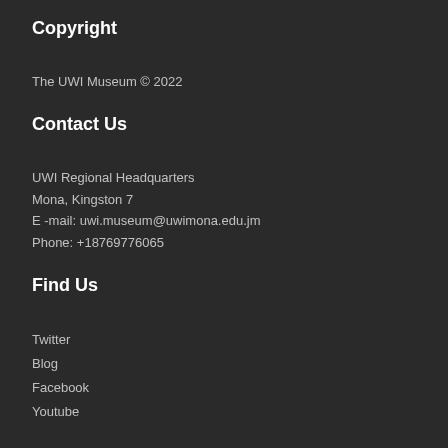Copyright
The UWI Museum © 2022
Contact Us
UWI Regional Headquarters
Mona, Kingston 7
E -mail: uwi.museum@uwimona.edu.jm
Phone: +18769776065
Find Us
Twitter
Blog
Facebook
Youtube